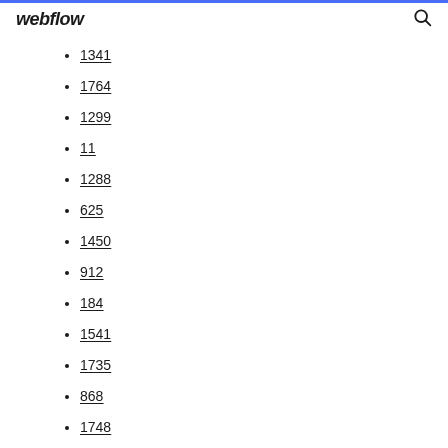webflow
1341
1764
1299
11
1288
625
1450
912
184
1541
1735
868
1748